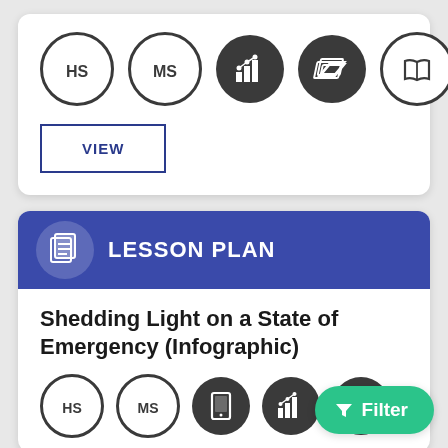[Figure (infographic): Row of five circular icons: HS (outline), MS (outline), bar chart (filled dark), layered pages/document (filled dark), open book (outline)]
VIEW
LESSON PLAN
Shedding Light on a State of Emergency (Infographic)
[Figure (infographic): Row of five partially visible circular icons at bottom: HS (outline), MS (outline), tablet/device (filled dark), bar chart (filled dark), layered pages (filled dark, partially cropped)]
Filter